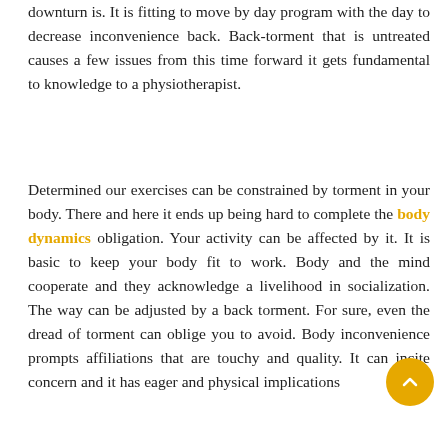downturn is. It is fitting to move by day program with the day to decrease inconvenience back. Back-torment that is untreated causes a few issues from this time forward it gets fundamental to knowledge to a physiotherapist.
Determined our exercises can be constrained by torment in your body. There and here it ends up being hard to complete the body dynamics obligation. Your activity can be affected by it. It is basic to keep your body fit to work. Body and the mind cooperate and they acknowledge a livelihood in socialization. The way can be adjusted by a back torment. For sure, even the dread of torment can oblige you to avoid. Body inconvenience prompts affiliations that are touchy and quality. It can incite concern and it has eager and physical implications